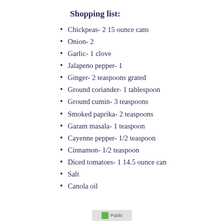Shopping list:
Chickpeas- 2 15 ounce cans
Onion- 2
Garlic- 1 clove
Jalapeno pepper- 1
Ginger- 2 teaspoons grated
Ground coriander- 1 tablespoon
Ground cumin- 3 teaspoons
Smoked paprika- 2 teaspoons
Garam masala- 1 teaspoon
Cayenne pepper- 1/2 teaspoon
Cinnamon- 1/2 teaspoon
Diced tomatoes- 1 14.5 ounce can
Salt
Canola oil